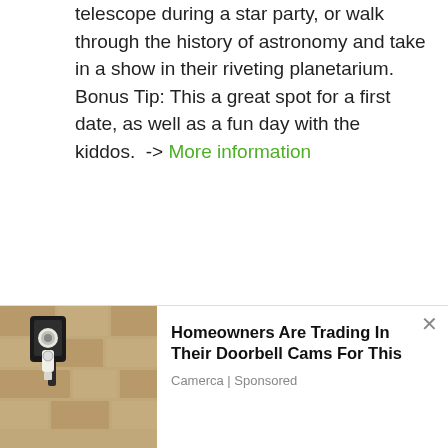telescope during a star party, or walk through the history of astronomy and take in a show in their riveting planetarium. Bonus Tip: This a great spot for a first date, as well as a fun day with the kiddos.  -> More information
2. Hollywood Bowl
[Figure (photo): Advertisement overlay showing a wall-mounted light fixture/camera on a stone wall. Ad text: Homeowners Are Trading In Their Doorbell Cams For This. Sponsored by Camerca.]